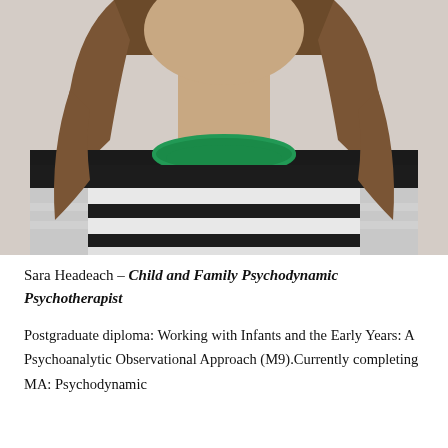[Figure (photo): Headshot photo of Sara Headeach, a woman with shoulder-length brown hair, wearing a black and white horizontal striped sweater with a green crew neck collar. The photo is cropped from approximately the shoulders up, showing no face — just neck and torso with the striped shirt and green collar.]
Sara Headeach – Child and Family Psychodynamic Psychotherapist
Postgraduate diploma: Working with Infants and the Early Years: A Psychoanalytic Observational Approach (M9).Currently completing MA: Psychodynamic